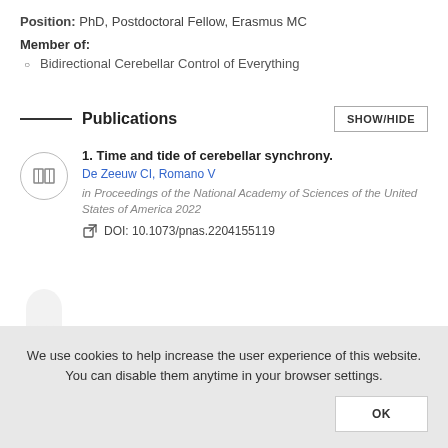Position: PhD, Postdoctoral Fellow, Erasmus MC
Member of:
Bidirectional Cerebellar Control of Everything
Publications
1. Time and tide of cerebellar synchrony.
De Zeeuw CI, Romano V
in Proceedings of the National Academy of Sciences of the United States of America 2022
DOI: 10.1073/pnas.2204155119
We use cookies to help increase the user experience of this website. You can disable them anytime in your browser settings.